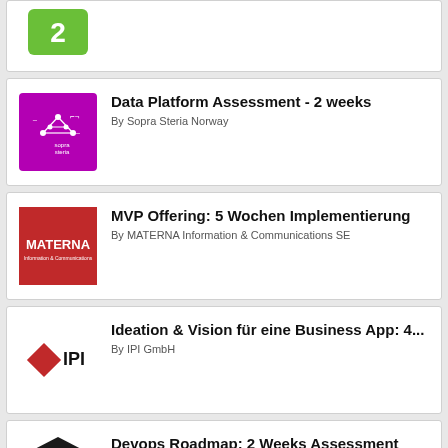[Figure (logo): Green rounded rectangle logo with number 2]
[Figure (logo): Sopra Steria purple logo with network icon and text 'sopra steria']
Data Platform Assessment - 2 weeks
By Sopra Steria Norway
[Figure (logo): MATERNA red square logo with white text 'MATERNA' and subtitle]
MVP Offering: 5 Wochen Implementierung
By MATERNA Information & Communications SE
[Figure (logo): IPI GmbH logo with diamond shape and text 'IPI']
Ideation & Vision für eine Business App: 4...
By IPI GmbH
[Figure (logo): Eficode black hexagon logo with white text 'eficode']
Devops Roadmap: 2 Weeks Assessment
By Eficode Oy